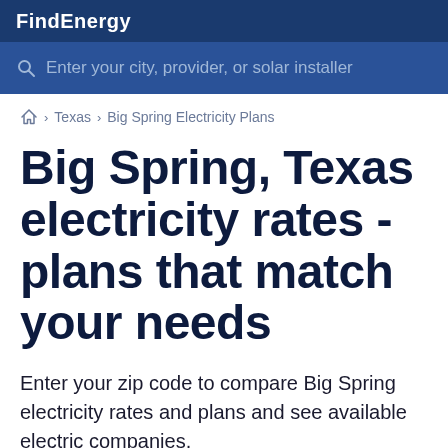FindEnergy
Enter your city, provider, or solar installer
🏠 › Texas › Big Spring Electricity Plans
Big Spring, Texas electricity rates - plans that match your needs
Enter your zip code to compare Big Spring electricity rates and plans and see available electric companies.